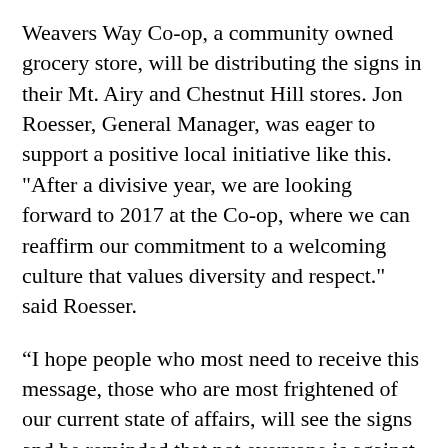Weavers Way Co-op, a community owned grocery store, will be distributing the signs in their Mt. Airy and Chestnut Hill stores. Jon Roesser, General Manager, was eager to support a positive local initiative like this. "After a divisive year, we are looking forward to 2017 at the Co-op, where we can reaffirm our commitment to a welcoming culture that values diversity and respect." said Roesser.
“I hope people who most need to receive this message, those who are most frightened of our current state of affairs, will see the signs and be reminded that not everyone is against them, that there are tolerant people living amongst us,” said Thomson.
Full information on the campaign is available at its Facebook page, www.facebook.com/hatehasnohomehereglenside.